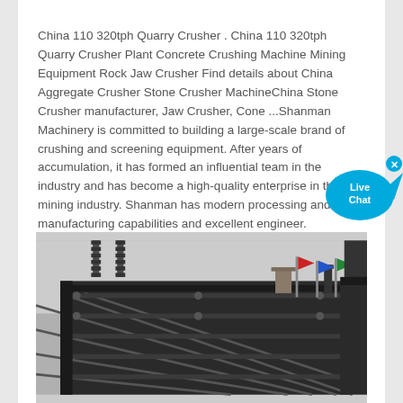China 110 320tph Quarry Crusher . China 110 320tph Quarry Crusher Plant Concrete Crushing Machine Mining Equipment Rock Jaw Crusher Find details about China Aggregate Crusher Stone Crusher MachineChina Stone Crusher manufacturer, Jaw Crusher, Cone ...Shanman Machinery is committed to building a large-scale brand of crushing and screening equipment. After years of accumulation, it has formed an influential team in the industry and has become a high-quality enterprise in the mining industry. Shanman has modern processing and manufacturing capabilities and excellent engineer.
[Figure (photo): Close-up photo of a quarry crusher machine showing heavy metal grating/screening structure, mechanical components, springs visible at top, and colorful flags in background]